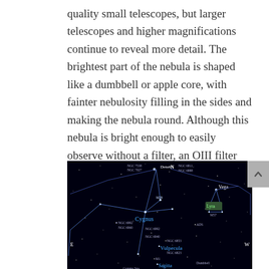quality small telescopes, but larger telescopes and higher magnifications continue to reveal more detail. The brightest part of the nebula is shaped like a dumbbell or apple core, with fainter nebulosity filling in the sides and making the nebula round. Although this nebula is bright enough to easily observe without a filter, an OIII filter will help bring out detail, especially in the nebula’s fainter areas.
[Figure (illustration): A star map showing constellations including Cygnus, Lyra, Vulpecula, and Sagitta on a dark background. Labels show Deneb, Vega, various NGC and M object designations, and directional indicators N, E, W.]